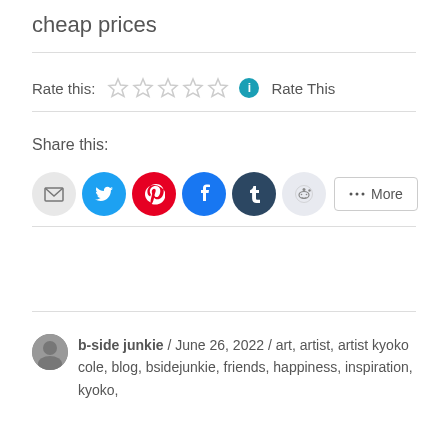cheap prices
Rate this: ☆☆☆☆☆ ℹ Rate This
Share this:
[Figure (infographic): Social share buttons: email (grey circle), Twitter (blue circle), Pinterest (red circle), Facebook (blue circle), Tumblr (dark navy circle), Reddit (light grey circle), and a More button with share icon]
b-side junkie / June 26, 2022 / art, artist, artist kyoko cole, blog, bsidejunkie, friends, happiness, inspiration, kyoko,